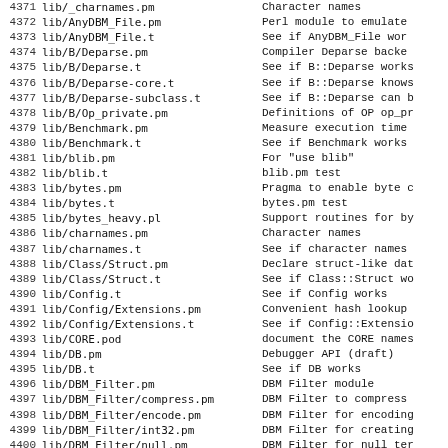| # | File | Description |
| --- | --- | --- |
| 4371 | lib/_charnames.pm | Character names |
| 4372 | lib/AnyDBM_File.pm | Perl module to emulate |
| 4373 | lib/AnyDBM_File.t | See if AnyDBM_File wor |
| 4374 | lib/B/Deparse.pm | Compiler Deparse backe |
| 4375 | lib/B/Deparse.t | See if B::Deparse works |
| 4376 | lib/B/Deparse-core.t | See if B::Deparse knows |
| 4377 | lib/B/Deparse-subclass.t | See if B::Deparse can b |
| 4378 | lib/B/Op_private.pm | Definitions of OP op_pr |
| 4379 | lib/Benchmark.pm | Measure execution time |
| 4380 | lib/Benchmark.t | See if Benchmark works |
| 4381 | lib/blib.pm | For "use blib" |
| 4382 | lib/blib.t | blib.pm test |
| 4383 | lib/bytes.pm | Pragma to enable byte c |
| 4384 | lib/bytes.t | bytes.pm test |
| 4385 | lib/bytes_heavy.pl | Support routines for by |
| 4386 | lib/charnames.pm | Character names |
| 4387 | lib/charnames.t | See if character names |
| 4388 | lib/Class/Struct.pm | Declare struct-like dat |
| 4389 | lib/Class/Struct.t | See if Class::Struct wo |
| 4390 | lib/Config.t | See if Config works |
| 4391 | lib/Config/Extensions.pm | Convenient hash lookup |
| 4392 | lib/Config/Extensions.t | See if Config::Extensio |
| 4393 | lib/CORE.pod | document the CORE names |
| 4394 | lib/DB.pm | Debugger API (draft) |
| 4395 | lib/DB.t | See if DB works |
| 4396 | lib/DBM_Filter.pm | DBM Filter module |
| 4397 | lib/DBM_Filter/compress.pm | DBM Filter to compress |
| 4398 | lib/DBM_Filter/encode.pm | DBM Filter for encoding |
| 4399 | lib/DBM_Filter/int32.pm | DBM Filter for creating |
| 4400 | lib/DBM_Filter/null.pm | DBM Filter for null ter |
| 4401 | lib/DBM_Filter/t/01error.t | test DBM_Filter::null |
| 4402 | lib/DBM_Filter/t/02core.t | test DBM_Filter::null |